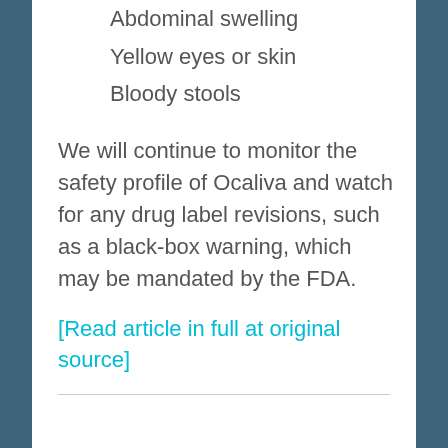Abdominal swelling
Yellow eyes or skin
Bloody stools
We will continue to monitor the safety profile of Ocaliva and watch for any drug label revisions, such as a black-box warning, which may be mandated by the FDA.
[Read article in full at original source]